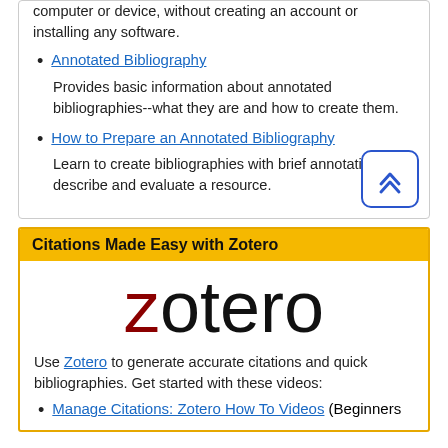computer or device, without creating an account or installing any software.
Annotated Bibliography
Provides basic information about annotated bibliographies--what they are and how to create them.
How to Prepare an Annotated Bibliography
Learn to create bibliographies with brief annotations that describe and evaluate a resource.
Citations Made Easy with Zotero
[Figure (logo): Zotero logo with red 'z' and black 'otero' text]
Use Zotero to generate accurate citations and quick bibliographies. Get started with these videos:
Manage Citations: Zotero How To Videos (Beginners